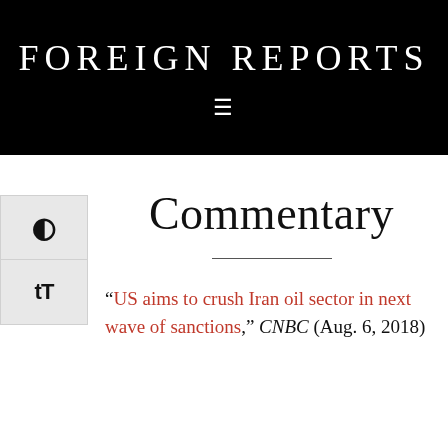FOREIGN REPORTS
Commentary
“US aims to crush Iran oil sector in next wave of sanctions,” CNBC (Aug. 6, 2018)